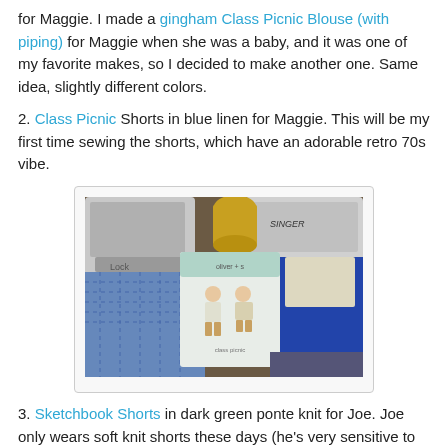for Maggie. I made a gingham Class Picnic Blouse (with piping) for Maggie when she was a baby, and it was one of my favorite makes, so I decided to make another one. Same idea, slightly different colors.
2. Class Picnic Shorts in blue linen for Maggie. This will be my first time sewing the shorts, which have an adorable retro 70s vibe.
[Figure (photo): Photo of sewing machine, blue gingham fabric, blue linen fabric, and a paper sewing pattern package showing a child's outfit (blouse and shorts), on a wooden table.]
3. Sketchbook Shorts in dark green ponte knit for Joe. Joe only wears soft knit shorts these days (he's very sensitive to comfort). We have a wedding to attend next month, and I am